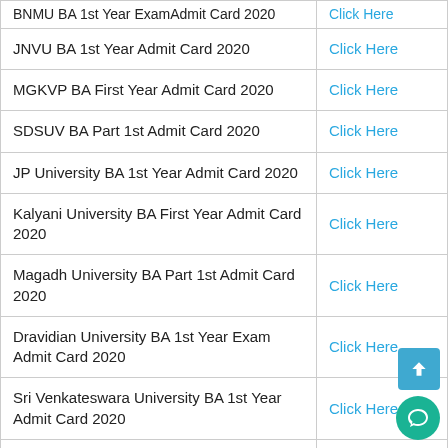| Admit Card Name | Link |
| --- | --- |
| BNMU BA 1st Year ExamAdmit Card 2020 | Click Here |
| JNVU BA 1st Year Admit Card 2020 | Click Here |
| MGKVP BA First Year Admit Card 2020 | Click Here |
| SDSUV BA Part 1st Admit Card 2020 | Click Here |
| JP University BA 1st Year Admit Card 2020 | Click Here |
| Kalyani University BA First Year Admit Card 2020 | Click Here |
| Magadh University BA Part 1st Admit Card 2020 | Click Here |
| Dravidian University BA 1st Year Exam Admit Card 2020 | Click Here |
| Sri Venkateswara University BA 1st Year Admit Card 2020 | Click Here |
| Vidyasagar University BA First YearAdmit Card 2020 | Click Here |
| MGSU BA Part 1st Admit Card 2020 | Click Here |